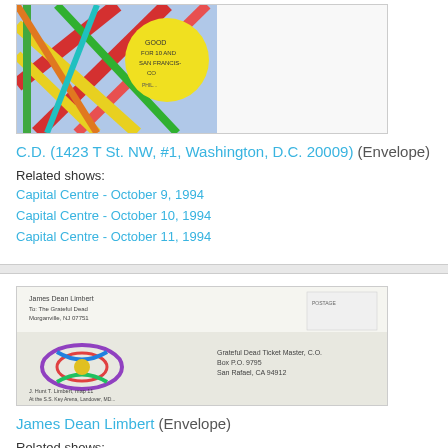[Figure (photo): Colorful envelope with abstract geometric design in red, blue, yellow and green on left side, with a yellow circular element containing handwritten text, addressed to a Washington D.C. address]
C.D. (1423 T St. NW, #1, Washington, D.C. 20009) (Envelope)
Related shows:
Capital Centre - October 9, 1994
Capital Centre - October 10, 1994
Capital Centre - October 11, 1994
[Figure (photo): Envelope with colorful ribbon/bow design on left side, handwritten address and postal markings visible, addressed to Grateful Dead Ticket Master in San Rafael, CA]
James Dean Limbert (Envelope)
Related shows:
Capital Centre - October 9, 1994
Capital Centre - October 10, 1994
Capital Centre - October 11, 1994